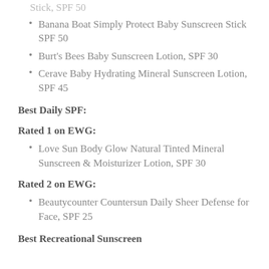Banana Boat Simply Protect Baby Sunscreen Stick SPF 50
Burt's Bees Baby Sunscreen Lotion, SPF 30
Cerave Baby Hydrating Mineral Sunscreen Lotion, SPF 45
Best Daily SPF:
Rated 1 on EWG:
Love Sun Body Glow Natural Tinted Mineral Sunscreen & Moisturizer Lotion, SPF 30
Rated 2 on EWG:
Beautycounter Countersun Daily Sheer Defense for Face, SPF 25
Best Recreational Sunscreen